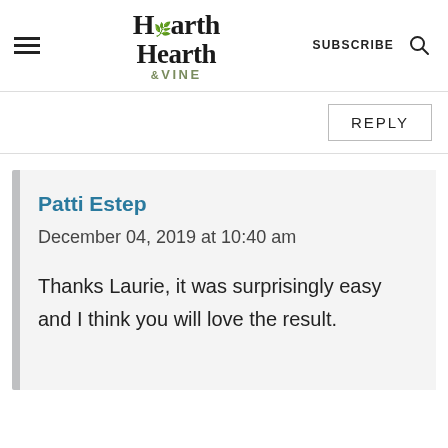Hearth & VINE | SUBSCRIBE
REPLY
Patti Estep
December 04, 2019 at 10:40 am

Thanks Laurie, it was surprisingly easy and I think you will love the result.